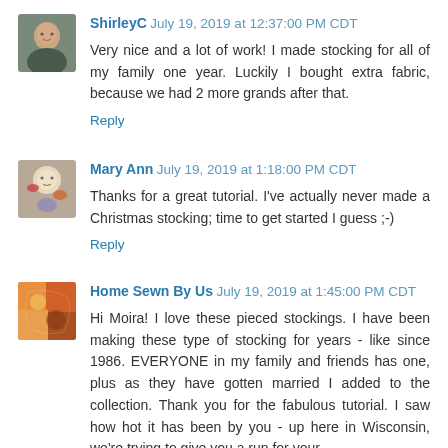[Figure (photo): Avatar photo of ShirleyC, person facing camera outdoors]
ShirleyC July 19, 2019 at 12:37:00 PM CDT
Very nice and a lot of work! I made stocking for all of my family one year. Luckily I bought extra fabric, because we had 2 more grands after that.
Reply
[Figure (photo): Avatar photo of Mary Ann, decorative image]
Mary Ann July 19, 2019 at 1:18:00 PM CDT
Thanks for a great tutorial. I've actually never made a Christmas stocking; time to get started I guess ;-)
Reply
[Figure (photo): Avatar photo of Home Sewn By Us, colorful fabric image]
Home Sewn By Us July 19, 2019 at 1:45:00 PM CDT
Hi Moira! I love these pieced stockings. I have been making these type of stocking for years - like since 1986. EVERYONE in my family and friends has one, plus as they have gotten married I added to the collection. Thank you for the fabulous tutorial. I saw how hot it has been by you - up here in Wisconsin, we're trying to give you a run for your